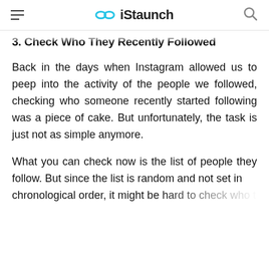iStaunch
3. Check Who They Recently Followed
Back in the days when Instagram allowed us to peep into the activity of the people we followed, checking who someone recently started following was a piece of cake. But unfortunately, the task is just not as simple anymore.
What you can check now is the list of people they follow. But since the list is random and not set in [cut off]